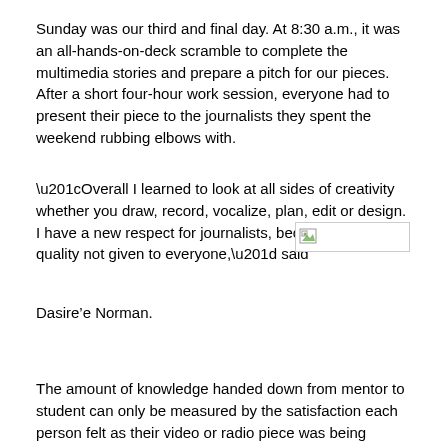Sunday was our third and final day. At 8:30 a.m., it was an all-hands-on-deck scramble to complete the multimedia stories and prepare a pitch for our pieces. After a short four-hour work session, everyone had to present their piece to the journalists they spent the weekend rubbing elbows with.
“Overall I learned to look at all sides of creativity whether you draw, record, vocalize, plan, edit or design. I have a new respect for journalists, because it is a quality not given to everyone,” said
[Figure (photo): Broken/placeholder image icon]
Dasire’e Norman.
The amount of knowledge handed down from mentor to student can only be measured by the satisfaction each person felt as their video or radio piece was being presented. The